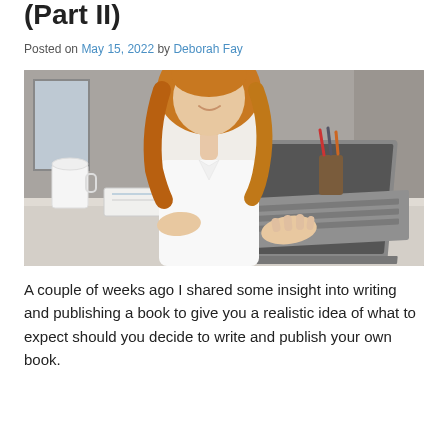(Part II)
Posted on May 15, 2022 by Deborah Fay
[Figure (photo): Woman with long auburn hair in a white blouse sitting at a desk, smiling, typing on a laptop. A white coffee mug and a notebook with a pen are on the desk beside the laptop.]
A couple of weeks ago I shared some insight into writing and publishing a book to give you a realistic idea of what to expect should you decide to write and publish your own book.